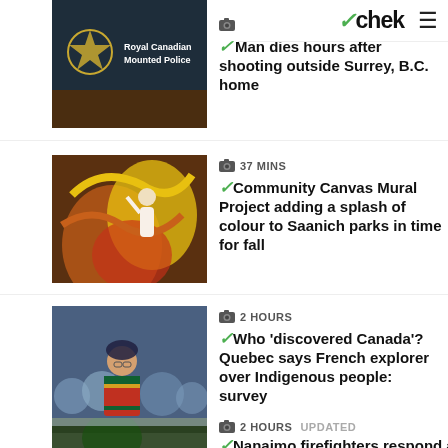chek
[Figure (photo): Royal Canadian Mounted Police sign on a dark wood wall with RCMP crest]
24 SECONDS
Man dies hours after shooting outside Surrey, B.C. home
[Figure (photo): Woman painting a colourful mural with yellow, orange and red designs]
37 MINS
Community Canvas Mural Project adding a splash of colour to Saanich parks in time for fall
[Figure (photo): Indigenous elder in traditional clothing at a gathering with crowd behind]
2 HOURS
Who 'discovered Canada'? Quebec says French explorer over Indigenous people: survey
[Figure (photo): Partial view of snow-covered trees, bottom of page]
2 HOURS  UPDATED
Nanaimo firefighters respond and...